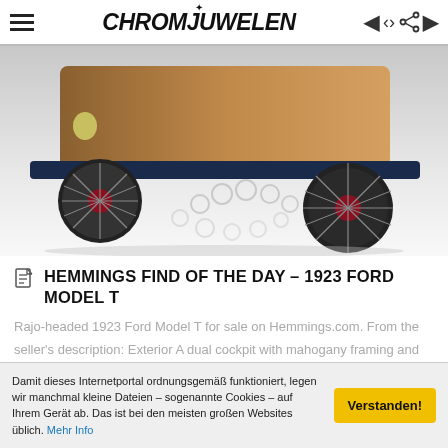CHROMJUWELEN
[Figure (photo): Close-up photograph of a 1923 Ford Model T with mahogany body panels and spoked wheels with red hubs, photographed on a white reflective floor]
HEMMINGS FIND OF THE DAY – 1923 FORD MODEL T
Rajo-headed 1923 Ford Model T for sale on Hemmings.com. From the seller's description: Exterior A dual cockpit with mahogany framing and mahogany veneer panels make up the rear two thirds of this veh...
Damit dieses Internetportal ordnungsgemäß funktioniert, legen wir manchmal kleine Dateien – sogenannte Cookies – auf Ihrem Gerät ab. Das ist bei den meisten großen Websites üblich. Mehr Info